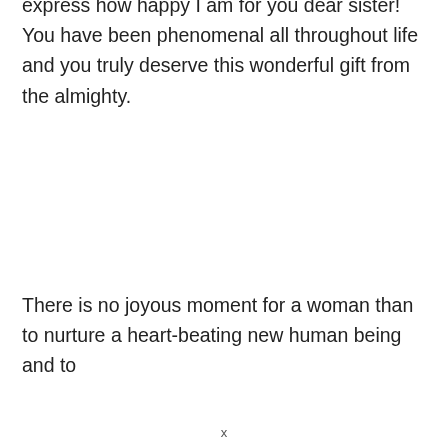express how happy I am for you dear sister! You have been phenomenal all throughout life and you truly deserve this wonderful gift from the almighty.
There is no joyous moment for a woman than to nurture a heart-beating new human being and to
x